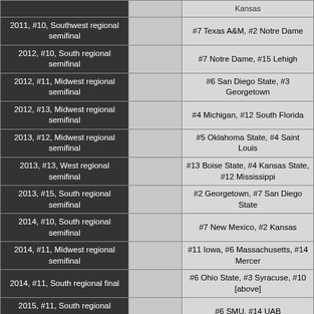| Game |  | Teams |
| --- | --- | --- |
| 2011, #10, Southwest regional semifinal |  | #7 Texas A&M, #2 Notre Dame |
| 2012, #10, South regional semifinal |  | #7 Notre Dame, #15 Lehigh |
| 2012, #11, Midwest regional semifinal |  | #6 San Diego State, #3 Georgetown |
| 2012, #13, Midwest regional semifinal |  | #4 Michigan, #12 South Florida |
| 2013, #12, Midwest regional semifinal |  | #5 Oklahoma State, #4 Saint Louis |
| 2013, #13, West regional semifinal |  | #13 Boise State, #4 Kansas State, #12 Mississippi |
| 2013, #15, South regional semifinal |  | #2 Georgetown, #7 San Diego State |
| 2014, #10, South regional semifinal |  | #7 New Mexico, #2 Kansas |
| 2014, #11, Midwest regional semifinal |  | #11 Iowa, #6 Massachusetts, #14 Mercer |
| 2014, #11, South regional final |  | #6 Ohio State, #3 Syracuse, #10 [above] |
| 2015, #11, South regional semifinal |  | #6 SMU, #14 UAB |